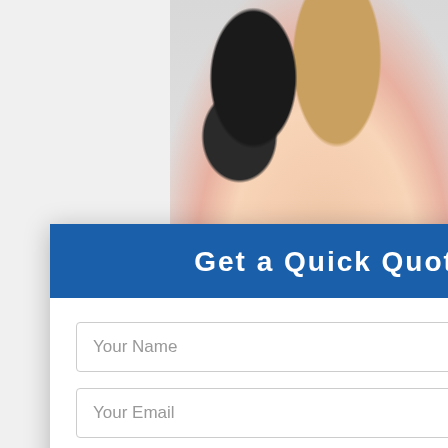[Figure (photo): Stack of silk scrunchies/hair bands in various colors including black, gold, and pink/rose tones on a light background]
Get a Quick Quote!
Your Name
Your Email
Message
Submit
k
s
Band
runchies, ilk nies with pour and lace stu. Different material
Found Mach Nam. Style i